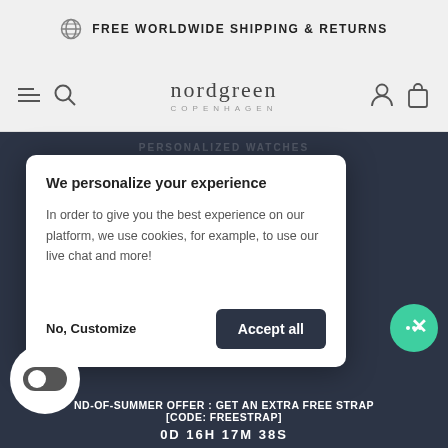FREE WORLDWIDE SHIPPING & RETURNS
[Figure (logo): Nordgreen Copenhagen logo with globe icon in nav bar]
We personalize your experience
In order to give you the best experience on our platform, we use cookies, for example, to use our live chat and more!
No, Customize
Accept all
END-OF-SUMMER OFFER : GET AN EXTRA FREE STRAP [CODE: FREESTRAP]
0D 16H 17M 38S